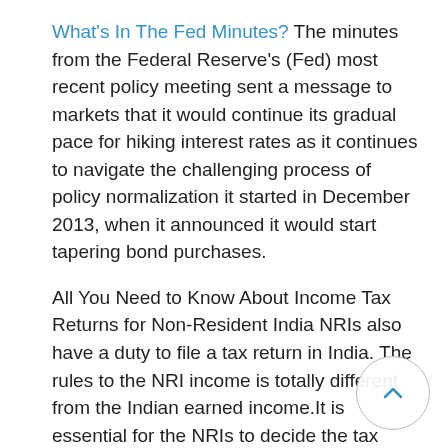What's In The Fed Minutes? The minutes from the Federal Reserve's (Fed) most recent policy meeting sent a message to markets that it would continue its gradual pace for hiking interest rates as it continues to navigate the challenging process of policy normalization it started in December 2013, when it announced it would start tapering bond purchases.
All You Need to Know About Income Tax Returns for Non-Resident India NRIs also have a duty to file a tax return in India. The rules to the NRI income is totally different from the Indian earned income.It is essential for the NRIs to decide the tax residency status in order to control the tax liability.
ITR Filing 2019: The last date for filing Income Tax Returns (ITRs) is just around the corner. Taxpayers are required to furnish the details of income earned, source/ nature of the same and the.